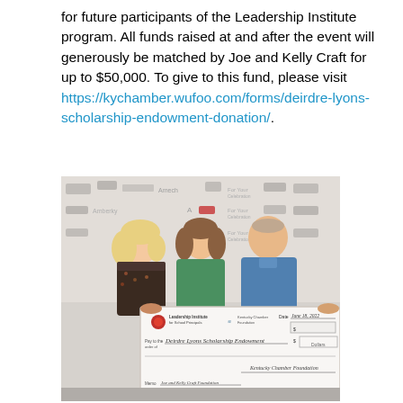for future participants of the Leadership Institute program. All funds raised at and after the event will generously be matched by Joe and Kelly Craft for up to $50,000. To give to this fund, please visit https://kychamber.wufoo.com/forms/deirdre-lyons-scholarship-endowment-donation/.
[Figure (photo): Three people holding a large ceremonial check made out to 'Deirdre Lyons Scholarship Endowment' from the Leadership Institute for School Principals / Kentucky Chamber Foundation, dated June 18, 2022, signed by Joe and Kelly Craft Foundation. They are standing in front of a banner backdrop.]